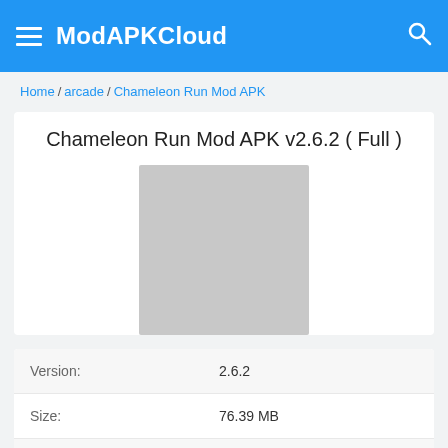ModAPKCloud
Home / arcade / Chameleon Run Mod APK
Chameleon Run Mod APK v2.6.2 ( Full )
[Figure (photo): Gray placeholder image for Chameleon Run app icon]
| Label | Value |
| --- | --- |
| Version: | 2.6.2 |
| Size: | 76.39 MB |
| Categary: | arcade |
| Developer: | Noodlecake Studios Inc |